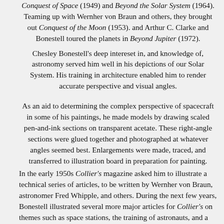Conquest of Space (1949) and Beyond the Solar System (1964). Teaming up with Wernher von Braun and others, they brought out Conquest of the Moon (1953). and Arthur C. Clarke and Bonestell toured the planets in Beyond Jupiter (1972).
Chesley Bonestell's deep intereset in, and knowledge of, astronomy served him well in his depictions of our Solar System. His training in architecture enabled him to render accurate perspective and visual angles.
As an aid to determining the complex perspective of spacecraft in some of his paintings, he made models by drawing scaled pen-and-ink sections on transparent acetate. These right-angle sections were glued together and photographed at whatever angles seemed best. Enlargements were made, traced, and transferred to illustration board in preparation for painting.
In the early 1950s Collier's magazine asked him to illustrate a technical series of articles, to be written by Wernher von Braun, astronomer Fred Whipple, and others. During the next few years, Bonestell illustrated several more major articles for Collier's on themes such as space stations, the training of astronauts, and a manned expedition to Mars.
These articles acted as a catalyst, encouraging discussion and debate among engineers and scientists. Was space flight